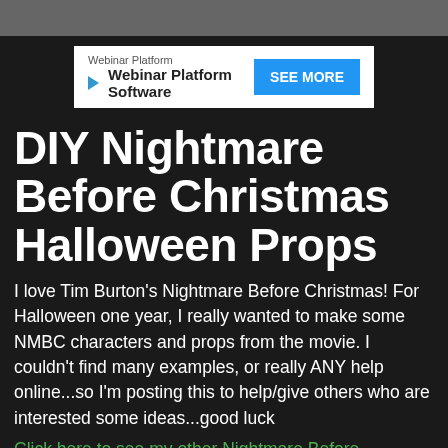[Figure (screenshot): Gray top bar / browser chrome at the top of the page]
[Figure (screenshot): Advertisement banner: Webinar Platform / Webinar Platform Software with a blue SEE MORE button]
DIY Nightmare Before Christmas Halloween Props
I love Tim Burton's Nightmare Before Christmas! For Halloween one year, I really wanted to make some NMBC characters and props from the movie. I couldn't find many examples, or really ANY help online...so I'm posting this to help/give others who are interested some ideas...good luck
Click here to see my other Nightmare Before Christmas props
[Figure (illustration): Decorative black and white scrollwork/damask pattern border divider]
Tuesday, November 26, 2013
Nightmare Before Christmas Scary